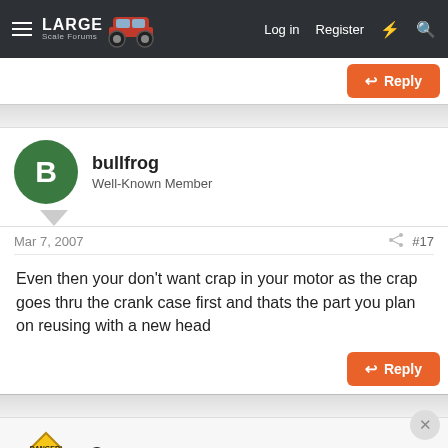LARGE Scale Forums — Log in  Register
bullfrog
Well-Known Member
Mar 7, 2007   #17
Even then your don't want crap in your motor as the crap goes thru the crank case first and thats the part you plan on reusing with a new head
Gussy
Well-Known Member